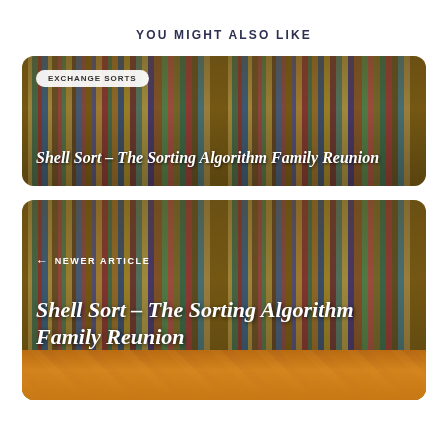YOU MIGHT ALSO LIKE
[Figure (photo): Library bookshelves with colorful books, card showing 'Shell Sort – The Sorting Algorithm Family Reunion' with 'EXCHANGE SORTS' badge]
[Figure (photo): Library bookshelves with colorful books, card showing '← NEWER ARTICLE' navigation and 'Shell Sort – The Sorting Algorithm Family Reunion' title, with pizza image at bottom]